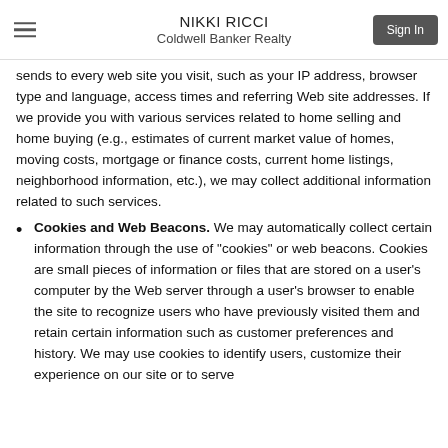NIKKI RICCI
Coldwell Banker Realty
sends to every web site you visit, such as your IP address, browser type and language, access times and referring Web site addresses. If we provide you with various services related to home selling and home buying (e.g., estimates of current market value of homes, moving costs, mortgage or finance costs, current home listings, neighborhood information, etc.), we may collect additional information related to such services.
Cookies and Web Beacons. We may automatically collect certain information through the use of "cookies" or web beacons. Cookies are small pieces of information or files that are stored on a user's computer by the Web server through a user's browser to enable the site to recognize users who have previously visited them and retain certain information such as customer preferences and history. We may use cookies to identify users, customize their experience on our site or to serve